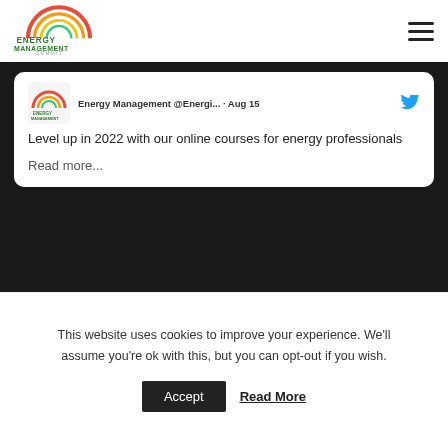Energy Management Summit
Energy Management @Energi... · Aug 15
Level up in 2022 with our online courses for energy professionals
Read more...
MORE INFO
Fill in our quick form to request more info on this event
This website uses cookies to improve your experience. We'll assume you're ok with this, but you can opt-out if you wish.
Accept   Read More